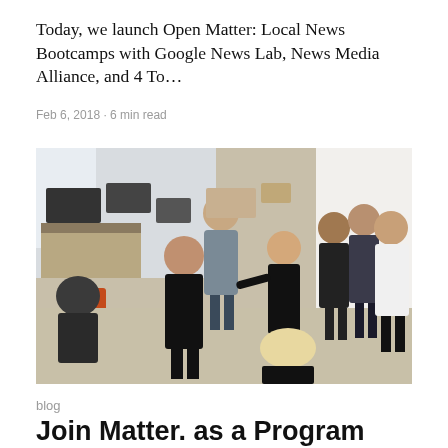Today, we launch Open Matter: Local News Bootcamps with Google News Lab, News Media Alliance, and 4 To…
Feb 6, 2018 · 6 min read
[Figure (photo): Group of people standing in a circle in an open office/workshop space, appearing to be engaged in a discussion or activity. A woman in black is gesturing. Several other people are standing around her. Office equipment and furniture visible in the background.]
blog
Join Matter. as a Program